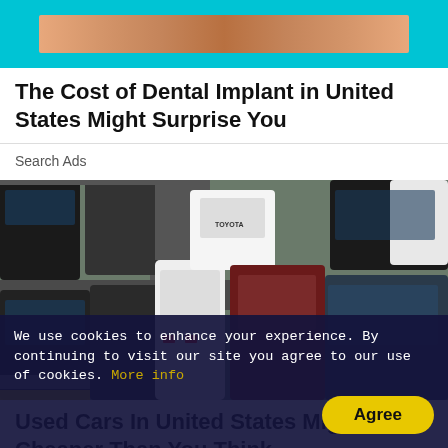[Figure (other): Cyan/teal background with a tan/brown horizontal banner image at the top]
The Cost of Dental Implant in United States Might Surprise You
Search Ads
[Figure (photo): Aerial view of a crowded car lot with many SUVs and sedans packed closely together, including a white Toyota SUV visible in the center]
Used Cars In United States Might Be Cheaper Than You Think
We use cookies to enhance your experience. By continuing to visit our site you agree to our use of cookies. More info
Agree